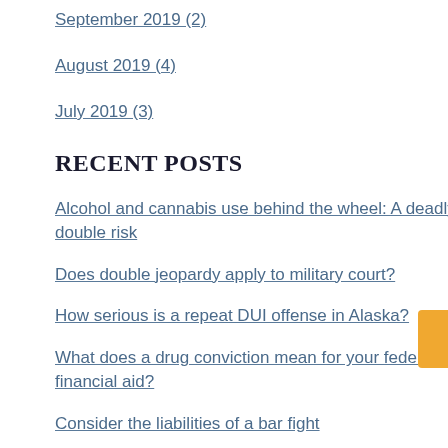September 2019 (2)
August 2019 (4)
July 2019 (3)
RECENT POSTS
Alcohol and cannabis use behind the wheel: A deadly double risk
Does double jeopardy apply to military court?
How serious is a repeat DUI offense in Alaska?
What does a drug conviction mean for your federal financial aid?
Consider the liabilities of a bar fight
Subscribe To This Blog's Feed